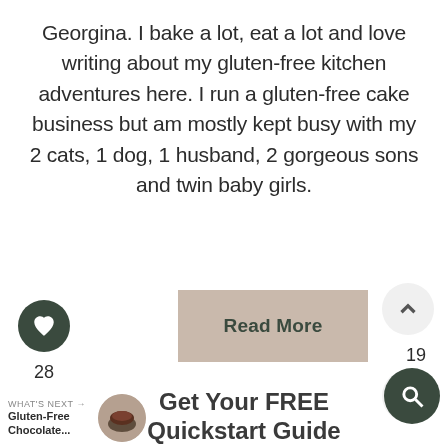Georgina. I bake a lot, eat a lot and love writing about my gluten-free kitchen adventures here. I run a gluten-free cake business but am mostly kept busy with my 2 cats, 1 dog, 1 husband, 2 gorgeous sons and twin baby girls.
Read More
28
19
WHAT'S NEXT → Gluten-Free Chocolate...
Get Your FREE Quickstart Guide